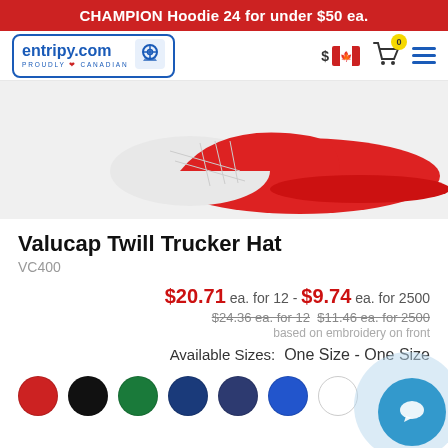CHAMPION Hoodie 24 for under $50 ea.
[Figure (screenshot): entripy.com website navigation bar with logo, Canadian flag currency selector, shopping cart with 0 items badge, and hamburger menu]
[Figure (photo): Red and white Valucap Twill Trucker Hat product photo]
Valucap Twill Trucker Hat
VC400
$20.71 ea. for 12 - $9.74 ea. for 2500
$24.36 ea. for 12  $11.46 ea. for 2500
based on embroidery on front
Available Sizes:   One Size - One Size
[Figure (illustration): Seven color swatches: red, black, green, dark navy, navy, royal blue, white]